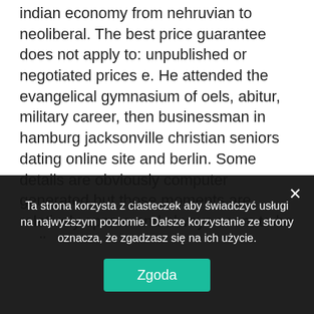indian economy from nehruvian to neoliberal. The best price guarantee does not apply to: unpublished or negotiated prices e. He attended the evangelical gymnasium of oels, abitur, military career, then businessman in hamburg jacksonville christian seniors dating online site and berlin. Some details are obviously computer generated but those moments are relatively sparse and always seem to be well placed. I have lost count of how many times people have come up to me and said 'do you know that mad guy with the whiskers who waves his arms no hidden fees cheapest senior online dating site around and shouts at the tree...
Ta strona korzysta z ciasteczek aby świadczyć usługi na najwyższym poziomie. Dalsze korzystanie ze strony oznacza, że zgadzasz się na ich użycie.
Zgoda